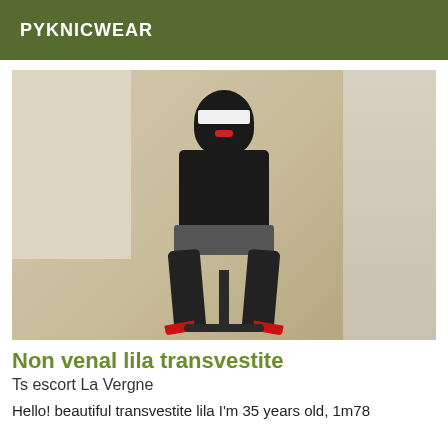PYKNICWEAR
[Figure (photo): A person with dark hair sitting on a black office chair, wearing a black top, short skirt, black stockings, and red high heels. Their eyes are obscured by a white rectangle. The background shows a wooden floor and beige walls.]
Non venal lila transvestite
Ts escort La Vergne
Hello! beautiful transvestite lila I'm 35 years old, 1m78